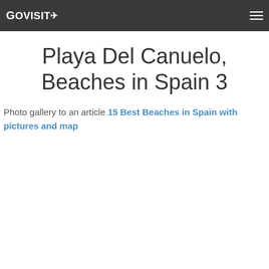GoVisity [logo with arrow icon] [hamburger menu]
Playa Del Canuelo, Beaches in Spain 3
Photo gallery to an article 15 Best Beaches in Spain with pictures and map